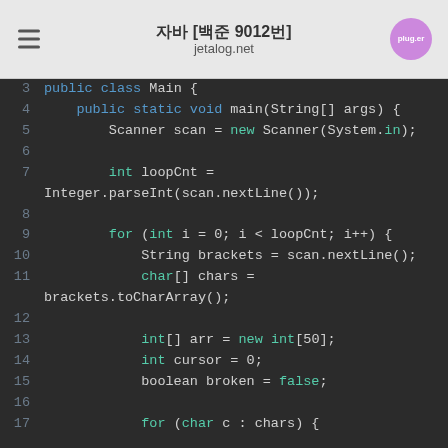자바 [백준 9012번] jetalog.net
[Figure (screenshot): Java code snippet showing public class Main with main method. Lines 3-17 visible. Code includes Scanner initialization, loopCnt integer parsed from nextLine, a for loop iterating loopCnt times, String brackets from nextLine, char[] chars from brackets.toCharArray(), int[] arr of size 50, int cursor = 0, boolean broken = false, and nested for loop over chars.]